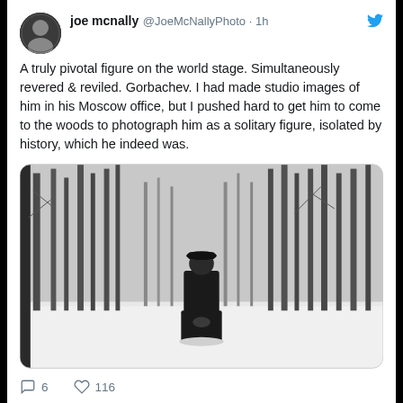joe mcnally @JoeMcNallyPhoto · 1h
A truly pivotal figure on the world stage. Simultaneously revered & reviled. Gorbachev. I had made studio images of him in his Moscow office, but I pushed hard to get him to come to the woods to photograph him as a solitary figure, isolated by history, which he indeed was.
[Figure (photo): Black and white photo of a man in a dark coat and cap standing in a snowy birch forest]
6 comments, 116 likes
joe mcnally @JoeMcNallyPhoto · 11h
Tomorrow (Thursday) - @PhotoshopWorld